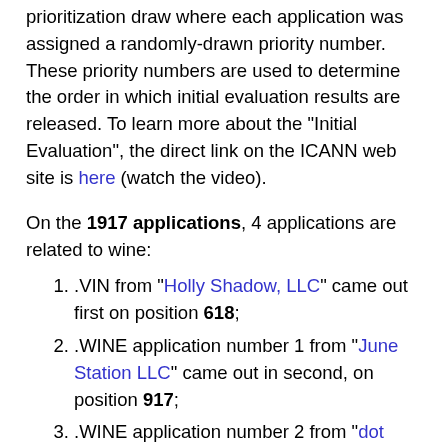prioritization draw where each application was assigned a randomly-drawn priority number. These priority numbers are used to determine the order in which initial evaluation results are released. To learn more about the "Initial Evaluation", the direct link on the ICANN web site is here (watch the video).
On the 1917 applications, 4 applications are related to wine:
1. .VIN from "Holly Shadow, LLC" came out first on position 618;
2. .WINE application number 1 from "June Station LLC" came out in second, on position 917;
3. .WINE application number 2 from "dot Wine Limited" came out third, on position 1158;
4. .WINE application number 3 from "Afilias Limited" came out fourth, on position 1291.
Unless I am wrong, I believe .VIN domain names could see the day before .WINE unless the .VIN application is blocked because of the GAC Early Warning or an Objection(s). Even